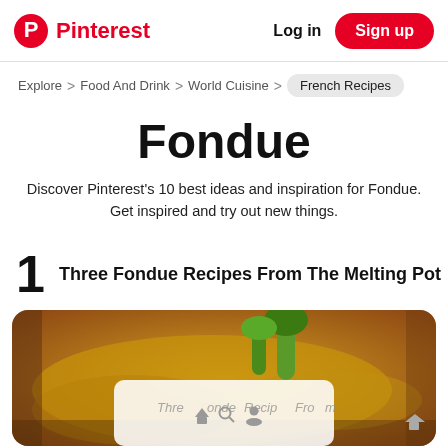Pinterest | Log in | Sign up
Explore > Food And Drink > World Cuisine > French Recipes
Fondue
Discover Pinterest's 10 best ideas and inspiration for Fondue. Get inspired and try out new things.
1 Three Fondue Recipes From The Melting Pot
[Figure (photo): Food photo showing melted cheese fondue with broccoli and other ingredients, with a white overlay card showing navigation icons and partial text]